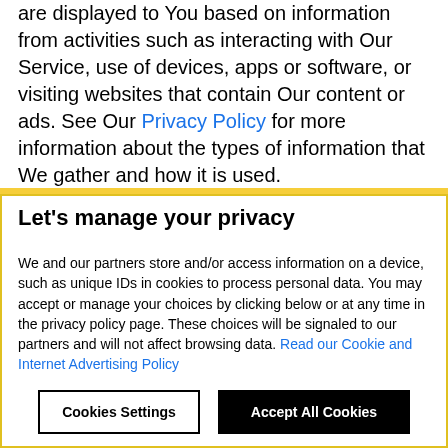are displayed to You based on information from activities such as interacting with Our Service, use of devices, apps or software, or visiting websites that contain Our content or ads. See Our Privacy Policy for more information about the types of information that We gather and how it is used.
Like other websites, We use tracking technologies
Let's manage your privacy
We and our partners store and/or access information on a device, such as unique IDs in cookies to process personal data. You may accept or manage your choices by clicking below or at any time in the privacy policy page. These choices will be signaled to our partners and will not affect browsing data. Read our Cookie and Internet Advertising Policy